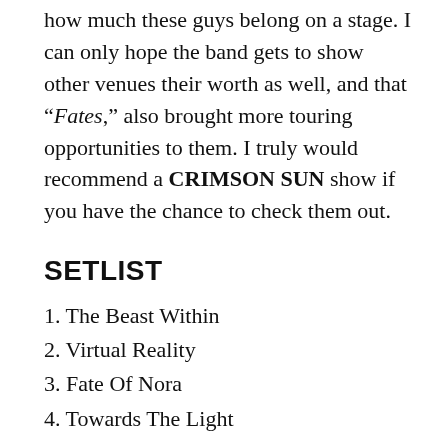show was really energetic, and it showed just how much these guys belong on a stage. I can only hope the band gets to show other venues their worth as well, and that “Fates,” also brought more touring opportunities to them. I truly would recommend a CRIMSON SUN show if you have the chance to check them out.
SETLIST
1. The Beast Within
2. Virtual Reality
3. Fate Of Nora
4. Towards The Light